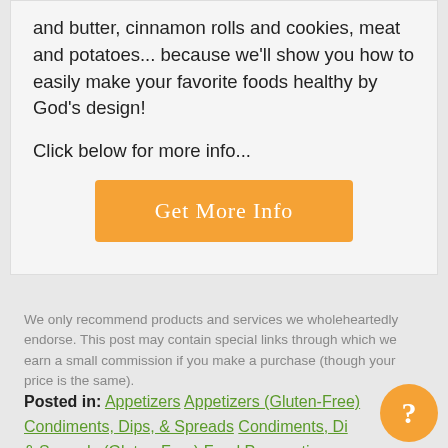and butter, cinnamon rolls and cookies, meat and potatoes... because we'll show you how to easily make your favorite foods healthy by God's design!
Click below for more info...
[Figure (other): Orange button labeled 'Get More Info']
We only recommend products and services we wholeheartedly endorse. This post may contain special links through which we earn a small commission if you make a purchase (though your price is the same).
Posted in: Appetizers Appetizers (Gluten-Free) Condiments, Dips, & Spreads Condiments, Dips, & Spreads (Gluten-Free) Food Preparation Freezing Preserving Recipes Techniques &